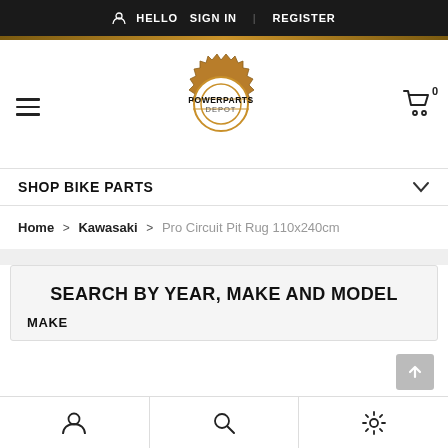HELLO  SIGN IN  REGISTER
[Figure (logo): PowerPartsDepot logo: gear icon with POWERPARTSDEPOT text inside]
SHOP BIKE PARTS
Home > Kawasaki > Pro Circuit Pit Rug 110x240cm
SEARCH BY YEAR, MAKE AND MODEL
MAKE